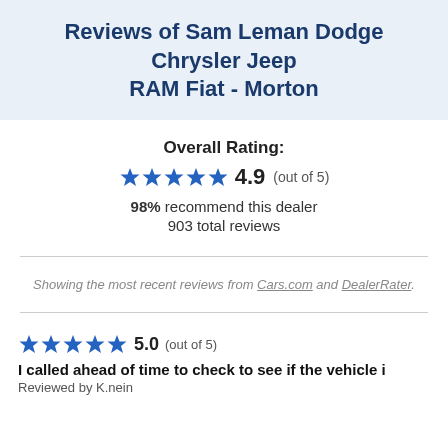Reviews of Sam Leman Dodge Chrysler Jeep RAM Fiat - Morton
Overall Rating:
★★★★★ 4.9 (out of 5)
98% recommend this dealer
903 total reviews
Showing the most recent reviews from Cars.com and DealerRater.
★★★★★ 5.0 (out of 5)
I called ahead of time to check to see if the vehicle i
Reviewed by K.nein